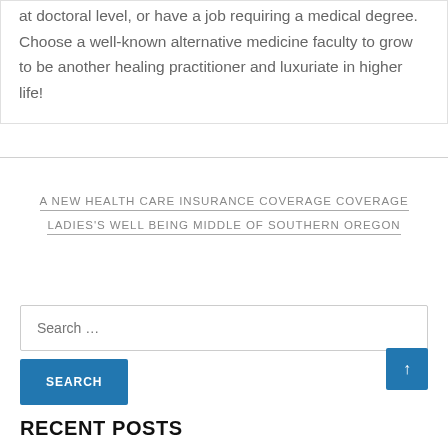at doctoral level, or have a job requiring a medical degree. Choose a well-known alternative medicine faculty to grow to be another healing practitioner and luxuriate in higher life!
A NEW HEALTH CARE INSURANCE COVERAGE COVERAGE LADIES'S WELL BEING MIDDLE OF SOUTHERN OREGON
Search …
SEARCH
RECENT POSTS